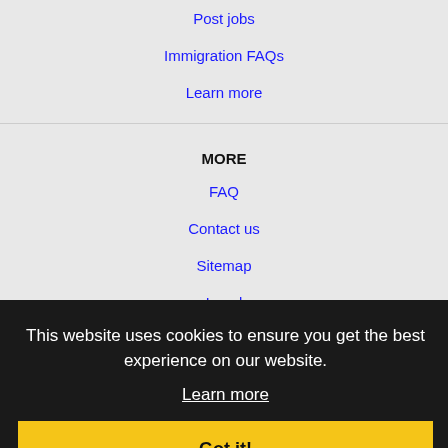Post jobs
Immigration FAQs
Learn more
MORE
FAQ
Contact us
Sitemap
Legal
Privacy
NEARBY CITIES
Aliso Viejo, CA Jobs
Apple Valley, CA Jobs
Calexico, CA Jobs
Carlsbad, CA Jobs
Cathedral City, CA Jobs
This website uses cookies to ensure you get the best experience on our website.
Learn more
Got it!